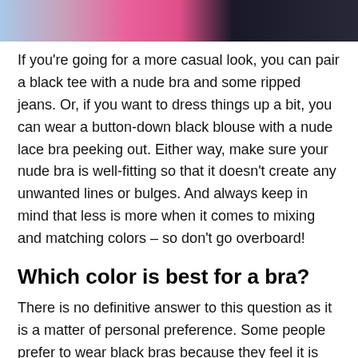[Figure (photo): Cropped photo strip showing parts of two or three women wearing different colored tops — blue, pink, and black — against a light background.]
If you're going for a more casual look, you can pair a black tee with a nude bra and some ripped jeans. Or, if you want to dress things up a bit, you can wear a button-down black blouse with a nude lace bra peeking out. Either way, make sure your nude bra is well-fitting so that it doesn't create any unwanted lines or bulges. And always keep in mind that less is more when it comes to mixing and matching colors – so don't go overboard!
Which color is best for a bra?
There is no definitive answer to this question as it is a matter of personal preference. Some people prefer to wear black bras because they feel it is more slimming